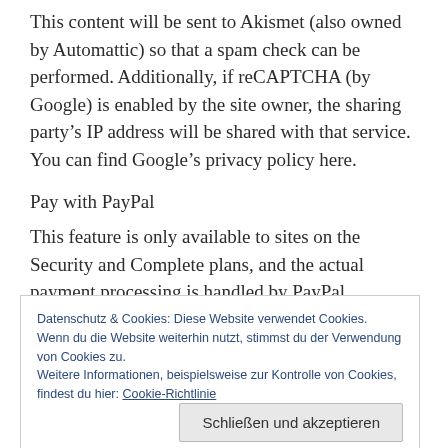This content will be sent to Akismet (also owned by Automattic) so that a spam check can be performed. Additionally, if reCAPTCHA (by Google) is enabled by the site owner, the sharing party's IP address will be shared with that service. You can find Google's privacy policy here.
Pay with PayPal
This feature is only available to sites on the Security and Complete plans, and the actual payment processing is handled by PayPal.
Datenschutz & Cookies: Diese Website verwendet Cookies. Wenn du die Website weiterhin nutzt, stimmst du der Verwendung von Cookies zu.
Weitere Informationen, beispielsweise zur Kontrolle von Cookies, findest du hier: Cookie-Richtlinie
Schließen und akzeptieren
Activity Tracked: The PayPal payer ID, transaction